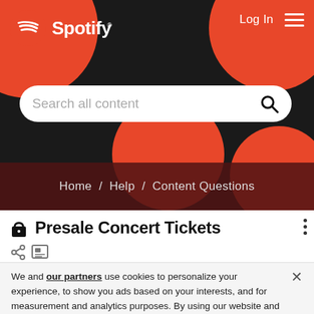[Figure (screenshot): Spotify website header with logo, hamburger menu, Log In link, search bar, and decorative red circular blobs on black background]
Home / Help / Content Questions
🔒 Presale Concert Tickets
We and our partners use cookies to personalize your experience, to show you ads based on your interests, and for measurement and analytics purposes. By using our website and services, you agree to our use of